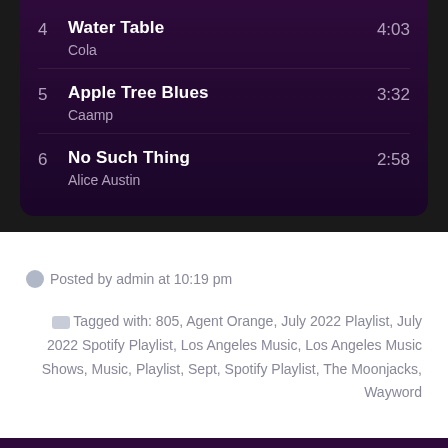4  Water Table  4:03
Cola
5  Apple Tree Blues  3:32
Caamp
6  No Such Thing  2:58
Alice Austin
Posted by admin at 10:19 pm
Tagged with: 805, Agent Orange, July 2022 Playlist, July 2022 Spotify Playlist, Los Angeles Music, Los Angeles Music Shows, Music, Playlist, Sept, Spotify Playlist, The Moonjacks, Wayword